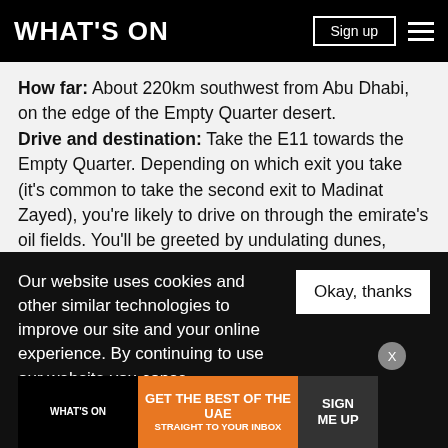WHAT'S ON
How far: About 220km southwest from Abu Dhabi, on the edge of the Empty Quarter desert. Drive and destination: Take the E11 towards the Empty Quarter. Depending on which exit you take (it's common to take the second exit to Madinat Zayed), you're likely to drive on through the emirate's oil fields. You'll be greeted by undulating dunes, sweeping sand, and the temptation of a detour to the en route Emirates National Automobile Museum. Liwa Oasis itself is the birthplace of Abu Dhabi royal family. It's home to date farms, camel racing, salt flats,
Our website uses cookies and other similar technologies to improve our site and your online experience. By continuing to use our website you conse... our pr...
[Figure (screenshot): Cookie consent overlay with 'Okay, thanks' button, close X button, and a What's On promotional ad banner at the bottom saying 'GET THE BEST OF THE UAE STRAIGHT TO YOUR INBOX' with 'SIGN ME UP' button]